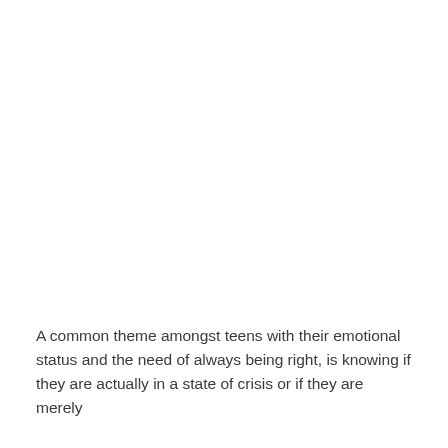A common theme amongst teens with their emotional status and the need of always being right, is knowing if they are actually in a state of crisis or if they are merely